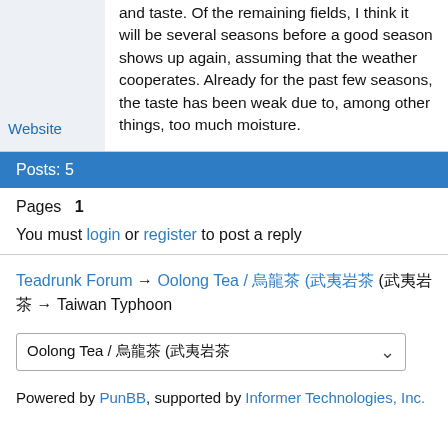and taste. Of the remaining fields, I think it will be several seasons before a good season shows up again, assuming that the weather cooperates. Already for the past few seasons, the taste has been weak due to, among other things, too much moisture.
Website
Posts: 5
Pages  1
You must login or register to post a reply
Teadrunk Forum → Oolong Tea / 烏龍茶 (武夷岩茶 → Taiwan Typhoon
Oolong Tea / 烏龍茶 (武夷岩茶
Powered by PunBB, supported by Informer Technologies, Inc.